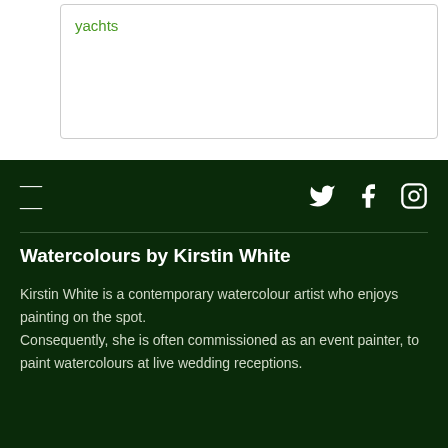yachts
≡  [Twitter] [Facebook] [Instagram]
Watercolours by Kirstin White
Kirstin White is a contemporary watercolour artist who enjoys painting on the spot. Consequently, she is often commissioned as an event painter, to paint watercolours at live wedding receptions.